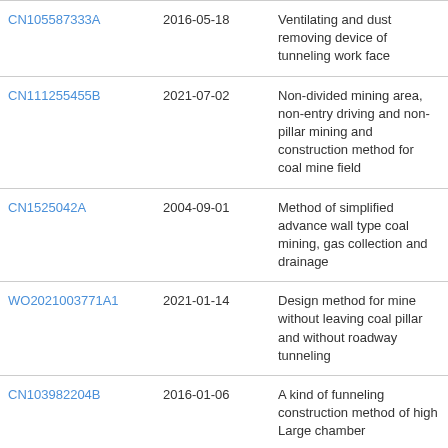| Patent ID | Date | Description |
| --- | --- | --- |
| CN105587333A | 2016-05-18 | Ventilating and dust removing device of tunneling work face |
| CN111255455B | 2021-07-02 | Non-divided mining area, non-entry driving and non-pillar mining and construction method for coal mine field |
| CN1525042A | 2004-09-01 | Method of simplified advance wall type coal mining, gas collection and drainage |
| WO2021003771A1 | 2021-01-14 | Design method for mine without leaving coal pillar and without roadway tunneling |
| CN103982204B | 2016-01-06 | A kind of funneling construction method of high Large chamber |
| RU2655502C1 | 2018-05-28 | Method for preparing coal plast for |